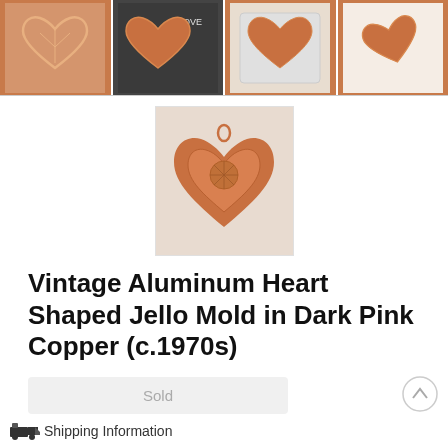[Figure (photo): Row of four thumbnail images of a copper heart-shaped Jello mold from different angles, including one on a dark chalkboard background with 'LOVE' written on it]
[Figure (photo): Larger thumbnail image of the copper heart-shaped Jello mold viewed from above at an angle, showing interior detail]
Vintage Aluminum Heart Shaped Jello Mold in Dark Pink Copper (c.1970s)
Sold
Shipping Information